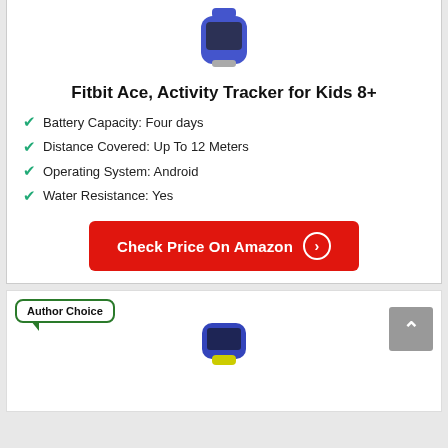[Figure (photo): Blue Fitbit Ace activity tracker wristband on white background, partially visible at top of card]
Fitbit Ace, Activity Tracker for Kids 8+
Battery Capacity: Four days
Distance Covered: Up To 12 Meters
Operating System: Android
Water Resistance: Yes
Check Price On Amazon
[Figure (other): Author Choice badge label with green border and speech bubble pointer, and a scroll-to-top button (gray). Blue/yellow Fitbit tracker partially visible at bottom.]